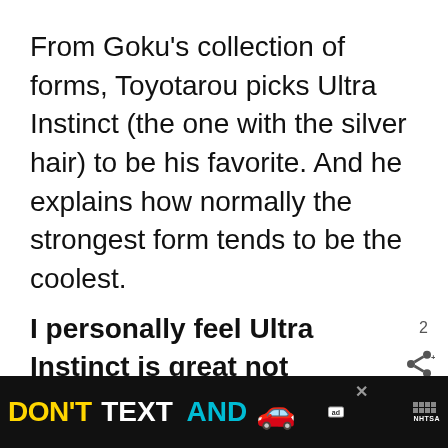From Goku’s collection of forms, Toyotarou picks Ultra Instinct (the one with the silver hair) to be his favorite. And he explains how normally the strongest form tends to be the coolest.
I personally feel Ultra Instinct is great not only of its strength but the concept behind it. Rooted in Chinese and Indian philosophy and
[Figure (screenshot): Ad banner: DON'T TEXT AND [car emoji] with NHTSA logo on black background, with close button]
[Figure (infographic): Like button (red circle with heart icon), count 2, share button, and What's Next card showing Goku Ultra Instincts...]